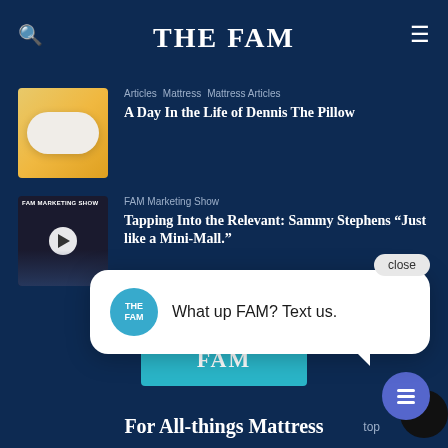THE FAM
[Figure (photo): Pillow on yellow/gold background thumbnail]
Articles  Mattress  Mattress Articles
A Day In the Life of Dennis The Pillow
[Figure (screenshot): FAM Marketing Show video thumbnail with play button and presenter]
FAM Marketing Show
Tapping Into the Relevant: Sammy Stephens "Just like a Mini-Mall."
[Figure (screenshot): Chat popup with THE FAM avatar and message: What up FAM? Text us. With close button.]
[Figure (logo): THE FAM teal/cyan square logo]
For All-things Mattress